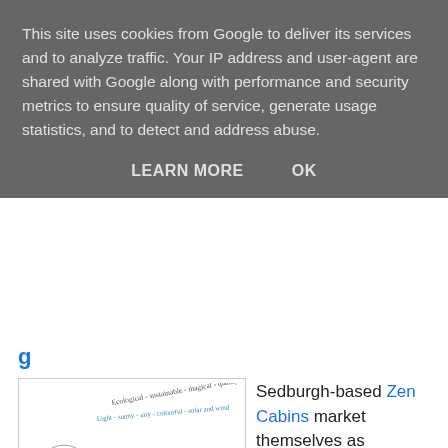This site uses cookies from Google to deliver its services and to analyze traffic. Your IP address and user-agent are shared with Google along with performance and security metrics to ensure quality of service, generate usage statistics, and to detect and address abuse.
LEARN MORE    OK
[Figure (illustration): Pen and ink illustration of a small cabin/garden office with curved roof, windows, and decorative plants. Handwritten text around the image reads: Ecological - sustainable - magical - quality - independence, Light - sunny - airy - colourful - solar and wind]
Sedburgh-based Zen Cabins market themselves as providing 'Ecological Garden Offices and Studios' and indeed there is a strong touchy-feely element on the site (such as the many inspiring quotes scattered around) not normally associated with garden office suppliers. There are three standard models but also a bespoke service. Nice touches include adjustable steel shoe